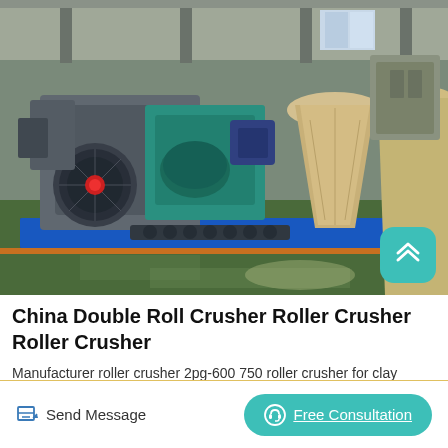[Figure (photo): Factory floor photo showing industrial double roll crusher machinery. Large gray and teal mechanical roll crusher with blue base frame visible, along with large cone-shaped tan/beige crushers in background. Green painted concrete floor. A teal rounded-square scroll-to-top button overlay in bottom-right corner.]
China Double Roll Crusher Roller Crusher Roller Crusher
Manufacturer roller crusher 2pg-600 750 roller crusher for clay material teeth. $8,666.00 - $8,888.00 Set. 1 Set Manufacturer brick
Send Message | Free Consultation